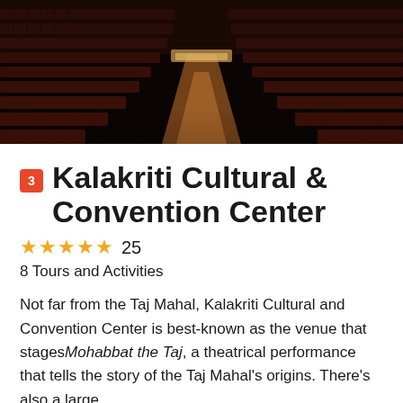[Figure (photo): Interior of a darkened theatre showing rows of red/maroon seats receding toward a lit stage at the far end, viewed from the rear center aisle.]
Kalakriti Cultural & Convention Center
★★★★★ 25
8 Tours and Activities
Not far from the Taj Mahal, Kalakriti Cultural and Convention Center is best-known as the venue that stages Mohabbat the Taj, a theatrical performance that tells the story of the Taj Mahal's origins. There's also a large
Read More